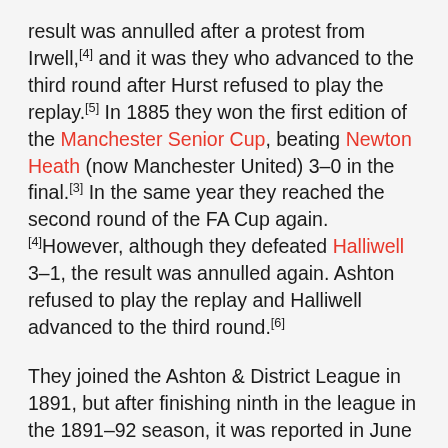result was annulled after a protest from Irwell,[4] and it was they who advanced to the third round after Hurst refused to play the replay.[5] In 1885 they won the first edition of the Manchester Senior Cup, beating Newton Heath (now Manchester United) 3–0 in the final.[3] In the same year they reached the second round of the FA Cup again.[4]However, although they defeated Halliwell 3–1, the result was annulled again. Ashton refused to play the replay and Halliwell advanced to the third round.[6]
They joined the Ashton & District League in 1891, but after finishing ninth in the league in the 1891–92 season, it was reported in June 1892 that the club had folded.[2] They were reformed in 1909, and were admitted to the Manchester League as it was expanded from 16 to 18 clubs.[7] In their first season in the league, they finished level on points at the top of the table with Salford United.